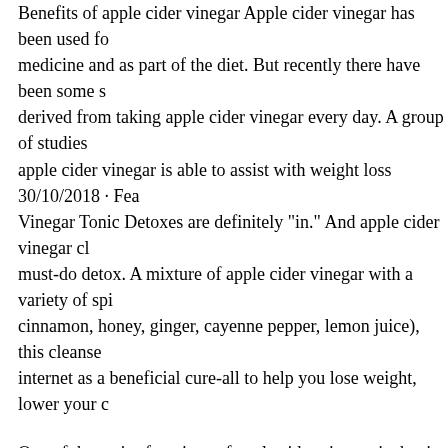Benefits of apple cider vinegar Apple cider vinegar has been used for medicine and as part of the diet. But recently there have been some studies derived from taking apple cider vinegar every day. A group of studies says apple cider vinegar is able to assist with weight loss 30/10/2018 · Fea Vinegar Tonic Detoxes are definitely "in." And apple cider vinegar cl must-do detox. A mixture of apple cider vinegar with a variety of spi cinnamon, honey, ginger, cayenne pepper, lemon juice), this cleanse internet as a beneficial cure-all to help you lose weight, lower your c
One of the major functions of apple cider vinegar is that it promotes why people make use of apple cider vinegar for weight loss. However how unpleasant the taste of apple cider vinegar can be and this is wh apple cider vinegar detox drink recipes for weight loss. How To Take Weight Loss In 1 Week. Using the apple cider vinegar for weight loss wondering how much apple cider vinegar should you drink a day, the farfetched. You can take it two …
One of the major functions of apple cider vinegar is that it promotes why people make use of apple cider vinegar for weight loss. However how unpleasant the taste of apple cider vinegar can be and this is wh